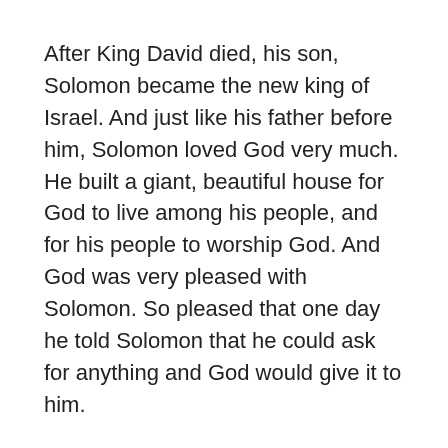After King David died, his son, Solomon became the new king of Israel. And just like his father before him, Solomon loved God very much. He built a giant, beautiful house for God to live among his people, and for his people to worship God. And God was very pleased with Solomon. So pleased that one day he told Solomon that he could ask for anything and God would give it to him.
What would you ask for? What do you think Solomon asked for? Money? Power? For all his enemies to be defeated?
No. Solomon didn't ask for any of these. He asked God for wisdom. And God gave it to him. Listen to